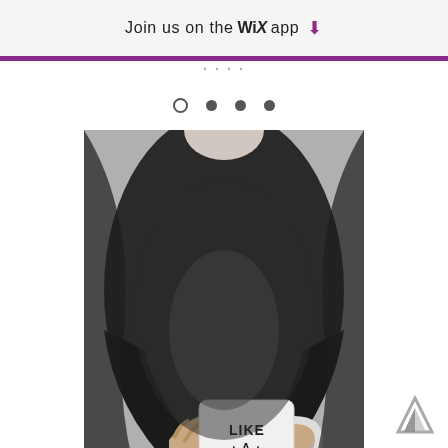Join us on the WiX app ⬇
· · · ·
[Figure (photo): Black and white photo of a person in a dark top holding a white mug that reads LIKE A BOSS behind their back]
[Figure (logo): Wix triangle logo, bottom right corner]